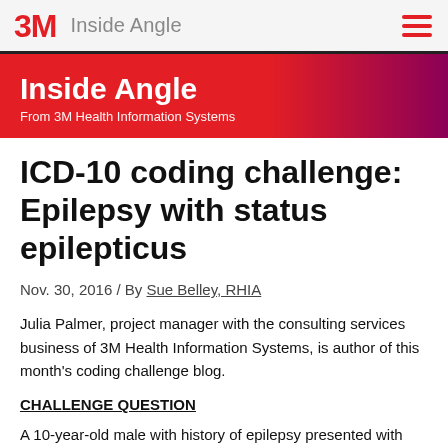3M Inside Angle
Inside Angle
From 3M Health Information Systems
ICD-10 coding challenge: Epilepsy with status epilepticus
Nov. 30, 2016 / By Sue Belley, RHIA
Julia Palmer, project manager with the consulting services business of 3M Health Information Systems, is author of this month's coding challenge blog.
CHALLENGE QUESTION
A 10-year-old male with history of epilepsy presented with